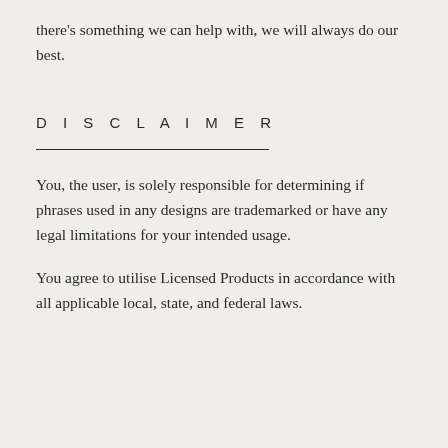there's something we can help with, we will always do our best.
DISCLAIMER
You, the user, is solely responsible for determining if phrases used in any designs are trademarked or have any legal limitations for your intended usage.
You agree to utilise Licensed Products in accordance with all applicable local, state, and federal laws.